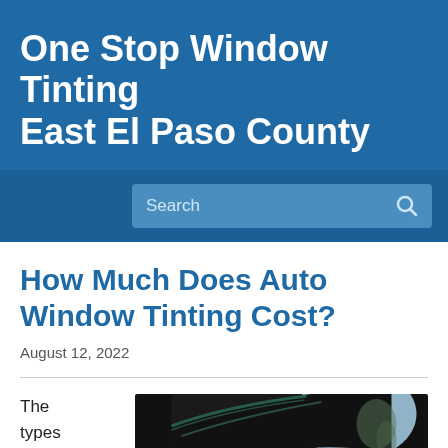One Stop Window Tinting East El Paso County
[Figure (screenshot): Search bar with blue background]
How Much Does Auto Window Tinting Cost?
August 12, 2022
The types
[Figure (photo): Close-up photo of a car window with tinting film applied, showing the curved window edge against a light sky background with some foliage visible]